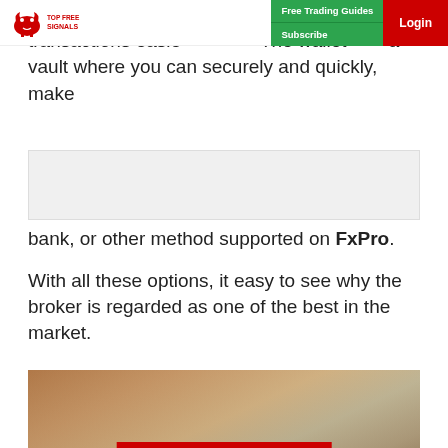Top Free Signals - Free Trading Guides | Subscribe | Login
efficient, came up with the FxPro wallet, to make transactions easier. The wallet is a vault where you can securely and quickly, make
bank, or other method supported on FxPro.
With all these options, it easy to see why the broker is regarded as one of the best in the market.
[Figure (photo): Person handing over a stack of US dollar bills over a cardboard box, with a red label overlay reading 'FxPro Deposits and Withdrawals' and Top Free Forex Signals logo at bottom left]
FxPro Mobile, Web, and Desktop Trading Platf…